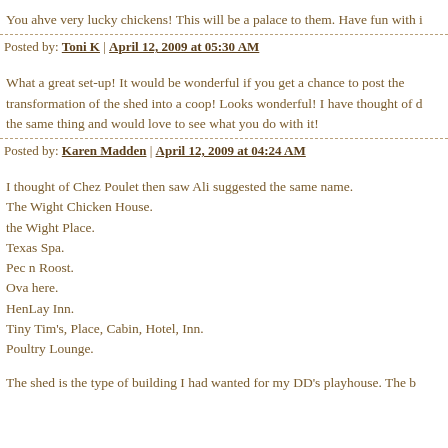You ahve very lucky chickens! This will be a palace to them. Have fun with i
Posted by: Toni K | April 12, 2009 at 05:30 AM
What a great set-up! It would be wonderful if you get a chance to post the transformation of the shed into a coop! Looks wonderful! I have thought of d the same thing and would love to see what you do with it!
Posted by: Karen Madden | April 12, 2009 at 04:24 AM
I thought of Chez Poulet then saw Ali suggested the same name.
The Wight Chicken House.
the Wight Place.
Texas Spa.
Pec n Roost.
Ova here.
HenLay Inn.
Tiny Tim's, Place, Cabin, Hotel, Inn.
Poultry Lounge.
The shed is the type of building I had wanted for my DD's playhouse. The b